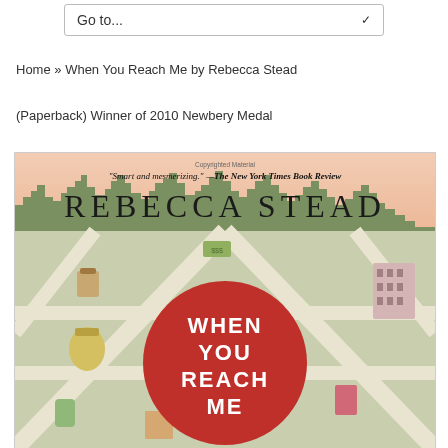Go to...
Home » When You Reach Me by Rebecca Stead
(Paperback) Winner of 2010 Newbery Medal
[Figure (illustration): Book cover of 'When You Reach Me' by Rebecca Stead. The cover shows an illustrated aerial view of city streets forming a grid, with small objects scattered (brown bag, money, pink book, buildings, jar). A large red circle in the center displays the title 'WHEN YOU REACH ME' in white bold letters. The author name 'REBECCA STEAD' is displayed in large letters at the top over a pinkish skyline. A quote reads '"Smart and mesmerizing." —The New York Times Book Review'.]